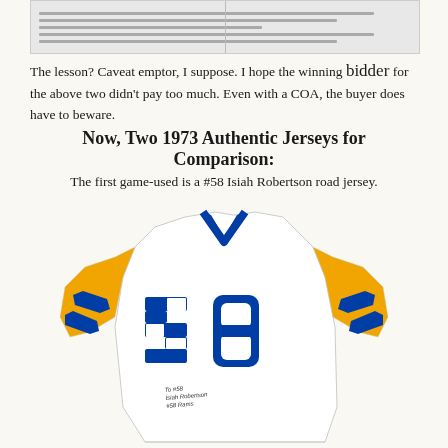[Figure (photo): Partial view of a document or certificate at the top of the page, showing faint text lines on a gray/white background.]
The lesson? Caveat emptor, I suppose. I hope the winning bidder for the above two didn't pay too much. Even with a COA, the buyer does have to beware.
Now, Two 1973 Authentic Jerseys for Comparison:
The first game-used is a #58 Isiah Robertson road jersey.
[Figure (photo): A white Los Angeles Rams #58 Isiah Robertson road jersey with gold/yellow sleeves featuring blue stripes, and a blue V-neck collar. The number 58 appears in large blue letters on the front. A signature is visible on the lower front of the jersey.]